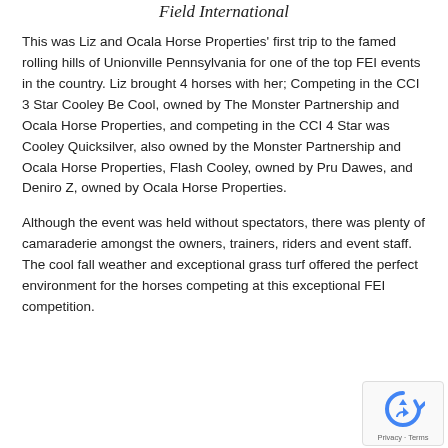Field International
This was Liz and Ocala Horse Properties' first trip to the famed rolling hills of Unionville Pennsylvania for one of the top FEI events in the country. Liz brought 4 horses with her; Competing in the CCI 3 Star Cooley Be Cool, owned by The Monster Partnership and Ocala Horse Properties, and competing in the CCI 4 Star was Cooley Quicksilver, also owned by the Monster Partnership and Ocala Horse Properties, Flash Cooley, owned by Pru Dawes, and Deniro Z, owned by Ocala Horse Properties.
Although the event was held without spectators, there was plenty of camaraderie amongst the owners, trainers, riders and event staff. The cool fall weather and exceptional grass turf offered the perfect environment for the horses competing at this exceptional FEI competition.
[Figure (other): reCAPTCHA privacy badge with recycling-style arrow icon and Privacy - Terms text]